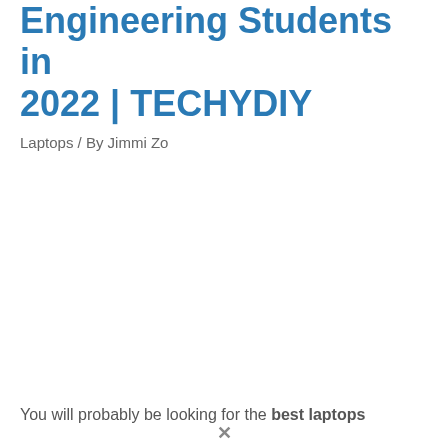Engineering Students in 2022 | TECHYDIY
Laptops / By Jimmi Zo
You will probably be looking for the best laptops